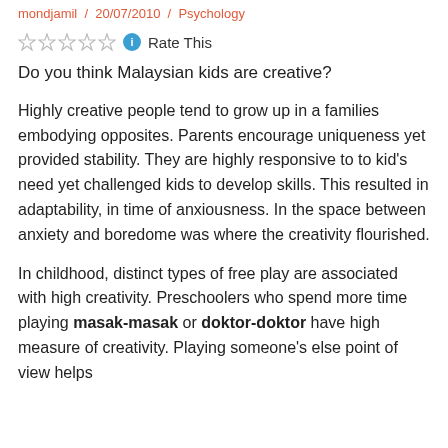mondjamil / 20/07/2010 / Psychology
Rate This
Do you think Malaysian kids are creative?
Highly creative people tend to grow up in a families embodying opposites. Parents encourage uniqueness yet provided stability. They are highly responsive to to kid's need yet challenged kids to develop skills. This resulted in adaptability, in time of anxiousness. In the space between anxiety and boredome was where the creativity flourished.
In childhood, distinct types of free play are associated with high creativity. Preschoolers who spend more time playing masak-masak or doktor-doktor have high measure of creativity. Playing someone's else point of view helps